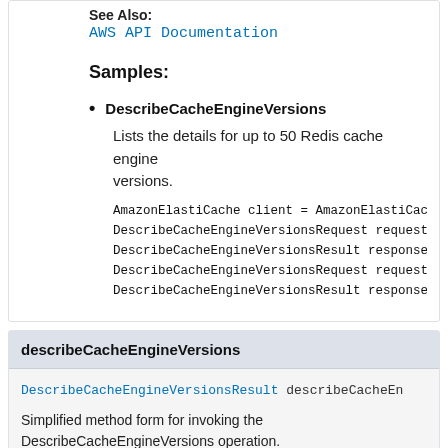See Also:
AWS API Documentation
Samples:
DescribeCacheEngineVersions
Lists the details for up to 50 Redis cache engine versions.
AmazonElastiCache client = AmazonElastiCache
DescribeCacheEngineVersionsRequest request =
DescribeCacheEngineVersionsResult response =
DescribeCacheEngineVersionsRequest request =
DescribeCacheEngineVersionsResult response =
describeCacheEngineVersions
DescribeCacheEngineVersionsResult describeCacheEn
Simplified method form for invoking the DescribeCacheEngineVersions operation.